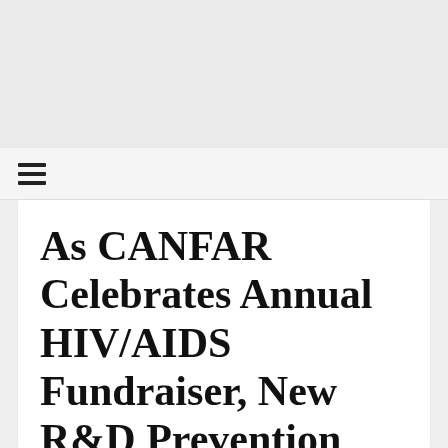[Figure (other): Hamburger menu icon (three horizontal lines)]
As CANFAR Celebrates Annual HIV/AIDS Fundraiser, New R&D Prevention Fund...